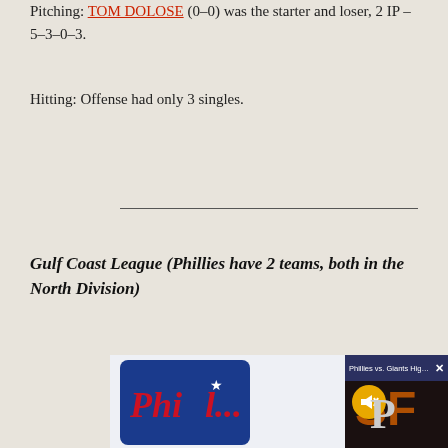Pitching: TOM DOLOSE (0-0) was the starter and loser, 2 IP – 5–3–0–3.
Hitting: Offense had only 3 singles.
Gulf Coast League (Phillies have 2 teams, both in the North Division)
[Figure (photo): Philadelphia Phillies logo on left; video overlay popup showing Phillies vs. Giants Highlights - Wilmer Fl... with mute icon and close button, Giants SF logo visible on right]